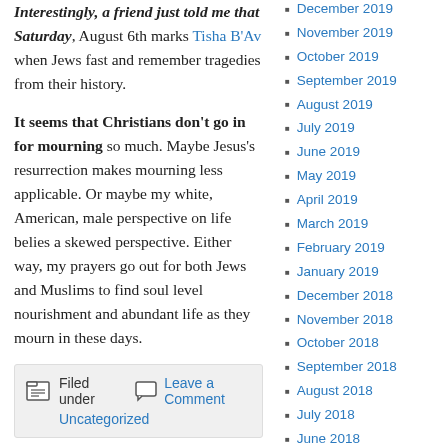Interestingly, a friend just told me that Saturday, August 6th marks Tisha B'Av when Jews fast and remember tragedies from their history.
It seems that Christians don't go in for mourning so much. Maybe Jesus's resurrection makes mourning less applicable. Or maybe my white, American, male perspective on life belies a skewed perspective. Either way, my prayers go out for both Jews and Muslims to find soul level nourishment and abundant life as they mourn in these days.
Filed under Uncategorized | Leave a Comment
JULY 28, 2022 · 9:02 PM
December 2019
November 2019
October 2019
September 2019
August 2019
July 2019
June 2019
May 2019
April 2019
March 2019
February 2019
January 2019
December 2018
November 2018
October 2018
September 2018
August 2018
July 2018
June 2018